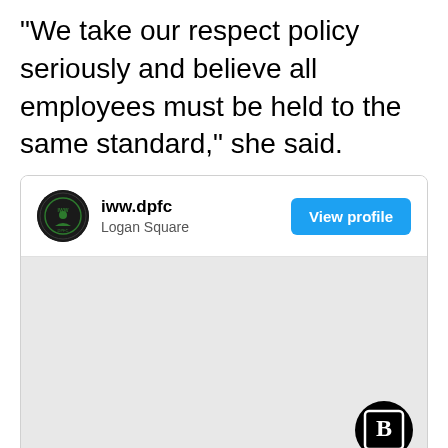“We take our respect policy seriously and believe all employees must be held to the same standard,” she said.
[Figure (screenshot): Social media profile card embed showing 'iww.dpfc' account from Logan Square with a 'View profile' button in blue, followed by a gray embedded content area with a Blockthrough logo watermark in the bottom right corner.]